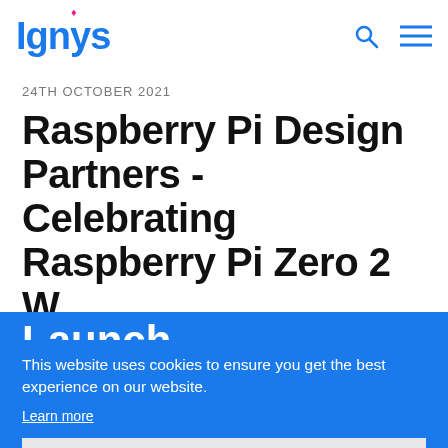Ignys [logo with navigation icons]
24TH OCTOBER 2021
Raspberry Pi Design Partners - Celebrating Raspberry Pi Zero 2 W Launch
This website uses cookies to ensure you get the best experience on our website.
Learn more
Got it!
CONTACT US